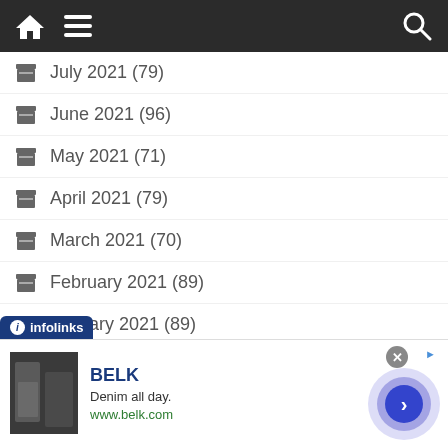Navigation bar with home, menu, and search icons
July 2021 (79)
June 2021 (96)
May 2021 (71)
April 2021 (79)
March 2021 (70)
February 2021 (89)
January 2021 (89)
December 2020 (52)
November 2020 (67)
[Figure (screenshot): Infolinks advertisement banner for BELK featuring tagline 'Denim all day.' and URL www.belk.com with a photo of women in denim clothing]